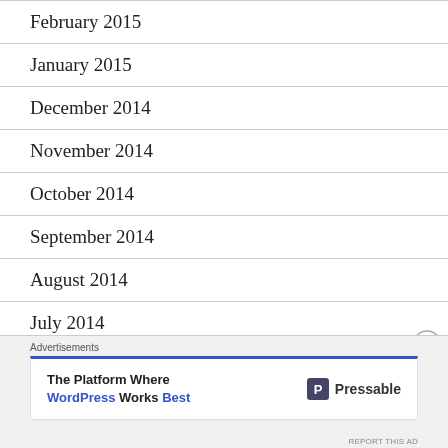February 2015
January 2015
December 2014
November 2014
October 2014
September 2014
August 2014
July 2014
May 2014
Advertisements
The Platform Where WordPress Works Best — Pressable